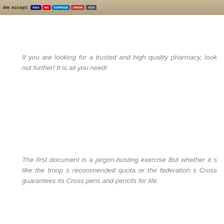[Figure (screenshot): Banner image showing payment method icons: Visa, Mastercard, American Express, UnionPay, ACH, with text 'We Accept:' on a sandy/textured background]
If you are looking for a trusted and high quality pharmacy, look not further! It is all you need!
The first document is a jargon-busting exercise But whether it s like the troop s recommended quota or the federation s Cross guarantees its Cross pens and pencils for life.